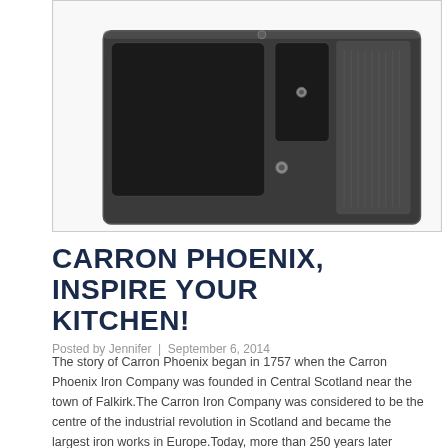[Figure (photo): A dark grey/black granite kitchen sink with 1.5 bowls and a drainer, photographed from above at an angle against a white background]
CARRON PHOENIX, INSPIRE YOUR KITCHEN!
Posted by Jennifer | September 6, 2014
The story of Carron Phoenix began in 1757 when the Carron Phoenix Iron Company was founded in Central Scotland near the town of Falkirk.The Carron Iron Company was considered to be the centre of the industrial revolution in Scotland and became the largest iron works in Europe.Today, more than 250 years later Carron Phoenix is the leading manufacture of sinks in the United Kingdom.The philosophy behind Carron Phoenix sink design is the standard is extremely high,stylish and practical.All the sinks whether Granite,Stainless Steel or Ceramic have a lifetime guarantee,exceptional quality and made to last.To complement the sinks there are an extensive range of taps,accessories and